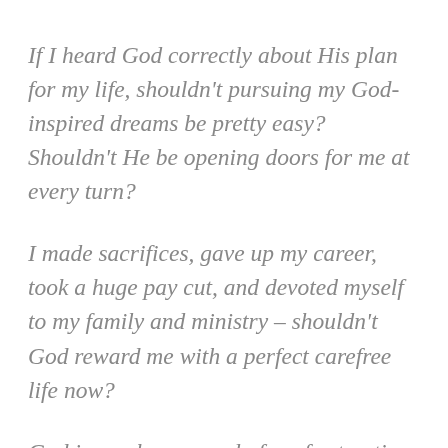If I heard God correctly about His plan for my life, shouldn't pursuing my God-inspired dreams be pretty easy? Shouldn't He be opening doors for me at every turn?
I made sacrifices, gave up my career, took a huge pay cut, and devoted myself to my family and ministry – shouldn't God reward me with a perfect carefree life now?
God is surely so proud of me for trusting Him